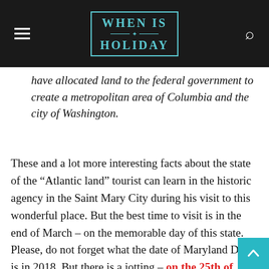WHEN IS HOLIDAY
have allocated land to the federal government to create a metropolitan area of Columbia and the city of Washington.
These and a lot more interesting facts about the state of the “Atlantic land” tourist can learn in the historic agency in the Saint Mary City during his visit to this wonderful place. But the best time to visit is in the end of March – on the memorable day of this state. Please, do not forget what the date of Maryland Day is in 2018. But there is a jotting – on the 25th of March.